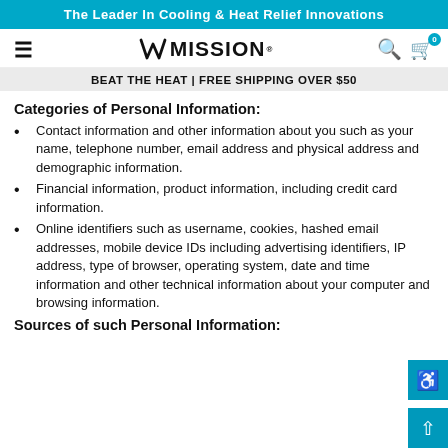The Leader In Cooling & Heat Relief Innovations
[Figure (logo): Mission brand navigation bar with hamburger menu, M MISSION logo, search icon, and cart icon with badge showing 0]
BEAT THE HEAT | FREE SHIPPING OVER $50
Categories of Personal Information:
Contact information and other information about you such as your name, telephone number, email address and physical address and demographic information.
Financial information, product information, including credit card information.
Online identifiers such as username, cookies, hashed email addresses, mobile device IDs including advertising identifiers, IP address, type of browser, operating system, date and time information and other technical information about your computer and browsing information.
Sources of such Personal Information: